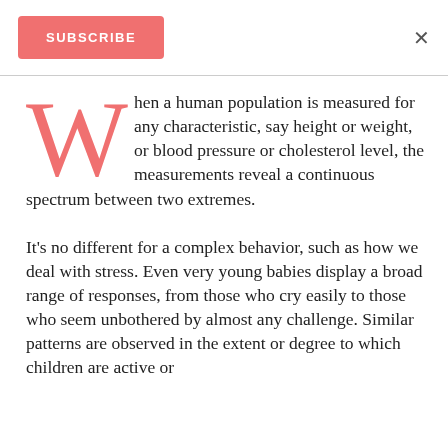SUBSCRIBE ×
When a human population is measured for any characteristic, say height or weight, or blood pressure or cholesterol level, the measurements reveal a continuous spectrum between two extremes.
It's no different for a complex behavior, such as how we deal with stress. Even very young babies display a broad range of responses, from those who cry easily to those who seem unbothered by almost any challenge. Similar patterns are observed in the extent or degree to which children are active or